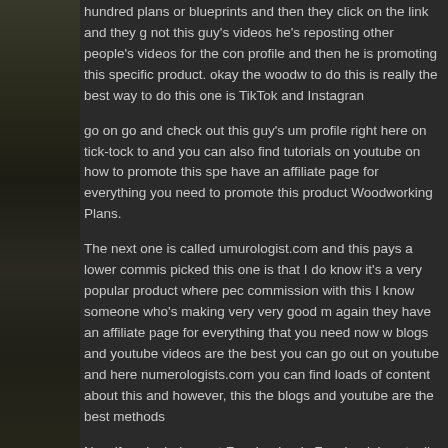hundred plans or blueprints and then they click on the link and they go not this guy's videos he's reposting other people's videos for the content profile and then he is promoting this specific product. okay the woodw to do this is really the best way to do this one is TikTok and Instagram
go on go and check out this guy's um profile right here on tick-tock to and you can also find tutorials on youtube on how to promote this spe have an affiliate page for everything you need to promote this product Woodworking Plans.
The next one is called umurologist.com and this pays a lower commis picked this one is that I do know it's a very popular product where pec commission with this I know someone who's making very very good m again they have an affiliate page for everything that you need now w blogs and youtube videos are the best you can go out on youtube and here numerologists.com you can find loads of content about this and however, this the blogs and youtube are the best methods
Now if we look down at Facebook ads Facebook is actually a really go what we call quiz pages there are lots of tutorials on Youtube that will set that up and make quiz pages as well so you can promote this spe remember there's a top product in every single niche it really depends to focus on now the next one is one of my favorites this is an evergre constantly selling it's always selling I use it as well in my business no average of twenty-two.